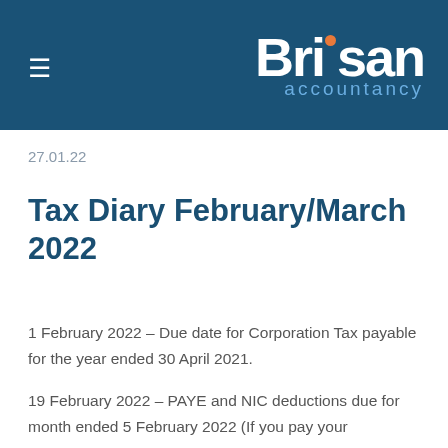Brisan accountancy
27.01.22
Tax Diary February/March 2022
1 February 2022 – Due date for Corporation Tax payable for the year ended 30 April 2021.
19 February 2022 – PAYE and NIC deductions due for month ended 5 February 2022 (If you pay your